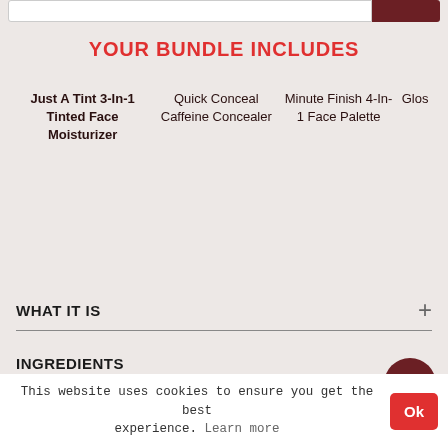YOUR BUNDLE INCLUDES
Just A Tint 3-In-1 Tinted Face Moisturizer
Quick Conceal Caffeine Concealer
Minute Finish 4-In-1 Face Palette
Glos...
WHAT IT IS
INGREDIENTS
This website uses cookies to ensure you get the best experience. Learn more